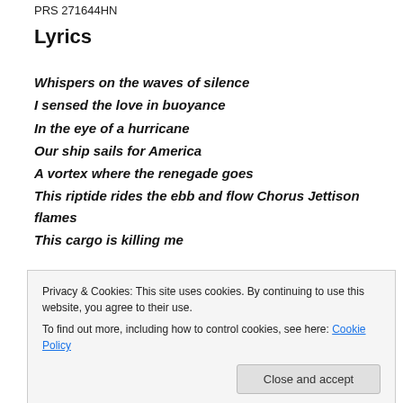PRS 271644HN
Lyrics
Whispers on the waves of silence
I sensed the love in buoyance
In the eye of a hurricane
Our ship sails for America
A vortex where the renegade goes
This riptide rides the ebb and flow Chorus Jettison flames
This cargo is killing me
Privacy & Cookies: This site uses cookies. By continuing to use this website, you agree to their use.
To find out more, including how to control cookies, see here: Cookie Policy
Close and accept
Lethal switchblades and urban food chains  Bridge